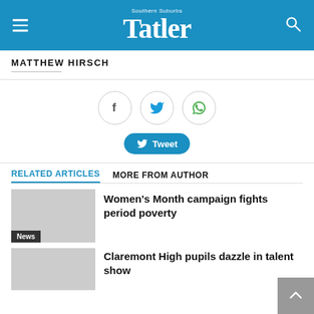Southern Suburbs Tatler
MATTHEW HIRSCH
[Figure (infographic): Social sharing icons: Facebook circle, Twitter circle, WhatsApp circle, and a Twitter Tweet button]
RELATED ARTICLES   MORE FROM AUTHOR
Women's Month campaign fights period poverty
News
Claremont High pupils dazzle in talent show